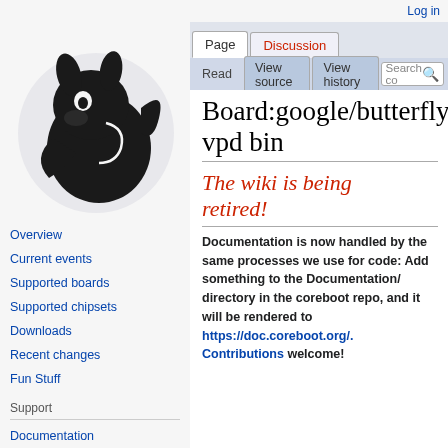Log in
[Figure (logo): Coreboot project logo — black rabbit/squirrel silhouette on light background]
Board:google/butterfly/vpd bin
The wiki is being retired!
Documentation is now handled by the same processes we use for code: Add something to the Documentation/ directory in the coreboot repo, and it will be rendered to https://doc.coreboot.org/. Contributions welcome!
Overview
Current events
Supported boards
Supported chipsets
Downloads
Recent changes
Fun Stuff
Support
Documentation
Board status pages
Issue tracker
Mailinglist
IRC